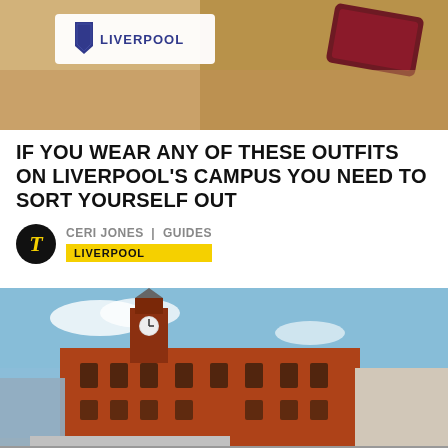[Figure (photo): Photo showing University of Liverpool branded items including hoodie/clothing with Liverpool shield logo]
IF YOU WEAR ANY OF THESE OUTFITS ON LIVERPOOL'S CAMPUS YOU NEED TO SORT YOURSELF OUT
CERI JONES | GUIDES
LIVERPOOL
[Figure (photo): Photo of a large Victorian red brick building at the University of Liverpool campus, with a clock tower, against a blue sky]
UCU STRIKE DATES ANNOUNCED FOR EARLY DECEMBER